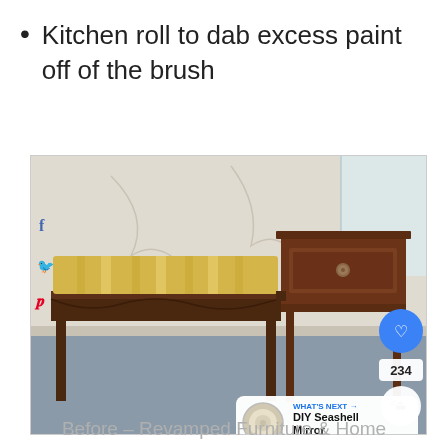Kitchen roll to dab excess paint off of the brush
[Figure (photo): A wooden bench with a yellow striped upholstered seat on the left and a small drawer cabinet on the right, displayed on a blue-grey carpet against a light wall. Social media icons (Facebook, Twitter, Pinterest) visible on the left edge, a heart/like badge (234), share button, and a 'What's Next: DIY Seashell Mirror' overlay in the bottom-right corner.]
Before – Revamped Furniture & Home